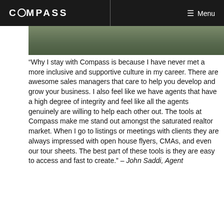COMPASS   Menu
[Figure (photo): Partial photo of a person outdoors, cropped at the top of the page below the navigation header]
“Why I stay with Compass is because I have never met a more inclusive and supportive culture in my career. There are awesome sales managers that care to help you develop and grow your business. I also feel like we have agents that have a high degree of integrity and feel like all the agents genuinely are willing to help each other out. The tools at Compass make me stand out amongst the saturated realtor market. When I go to listings or meetings with clients they are always impressed with open house flyers, CMAs, and even our tour sheets. The best part of these tools is they are easy to access and fast to create.” – John Saddi, Agent